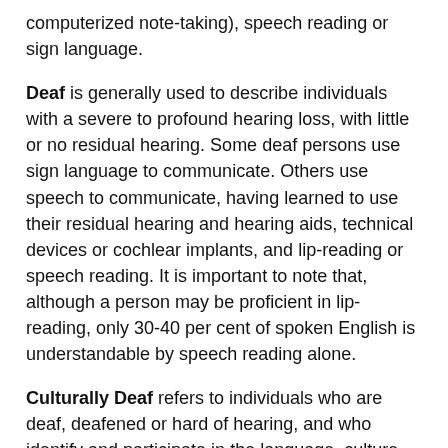computerized note-taking), speech reading or sign language.
Deaf is generally used to describe individuals with a severe to profound hearing loss, with little or no residual hearing. Some deaf persons use sign language to communicate. Others use speech to communicate, having learned to use their residual hearing and hearing aids, technical devices or cochlear implants, and lip-reading or speech reading. It is important to note that, although a person may be proficient in lip-reading, only 30-40 per cent of spoken English is understandable by speech reading alone.
Culturally Deaf refers to individuals who are deaf, deafened or hard of hearing, and who identify and participate in the language, culture and community of deaf people, based on sign language.